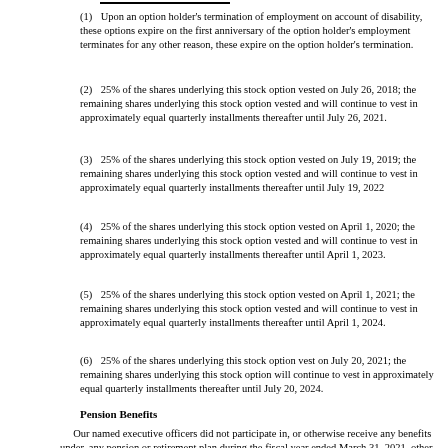(1) Upon an option holder's termination of employment on account of disability, these options expire on the first anniversary of the option holder's employment terminates for any other reason, these expire on the option holder's termination.
(2) 25% of the shares underlying this stock option vested on July 26, 2018; the remaining shares underlying this stock option vested and will continue to vest in approximately equal quarterly installments thereafter until July 26, 2021.
(3) 25% of the shares underlying this stock option vested on July 19, 2019; the remaining shares underlying this stock option vested and will continue to vest in approximately equal quarterly installments thereafter until July 19, 2022
(4) 25% of the shares underlying this stock option vested on April 1, 2020; the remaining shares underlying this stock option vested and will continue to vest in approximately equal quarterly installments thereafter until April 1, 2023.
(5) 25% of the shares underlying this stock option vested on April 1, 2021; the remaining shares underlying this stock option vested and will continue to vest in approximately equal quarterly installments thereafter until April 1, 2024.
(6) 25% of the shares underlying this stock option vest on July 20, 2021; the remaining shares underlying this stock option will continue to vest in approximately equal quarterly installments thereafter until July 20, 2024.
Pension Benefits
Our named executive officers did not participate in, or otherwise receive any benefits under, any pension or retirement plan during the fiscal year ended March 31, 2021, other than as described under “401(k) Plan.”